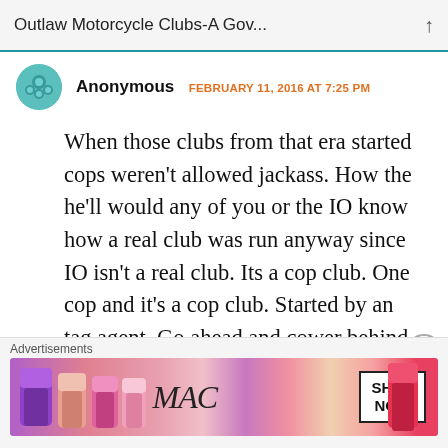Outlaw Motorcycle Clubs-A Gov...
Anonymous  FEBRUARY 11, 2016 AT 7:25 PM
When those clubs from that era started cops weren't allowed jackass. How the he'll would any of you or the IO know how a real club was run anyway since IO isn't a real club. Its a cop club. One cop and it's a cop club. Started by an tag agent. Go ahead and cower behind your cop buddies. That goes for the military in your ranks. Got no use for
Advertisements
[Figure (photo): MAC cosmetics advertisement showing lipsticks with MAC logo and SHOP NOW button]